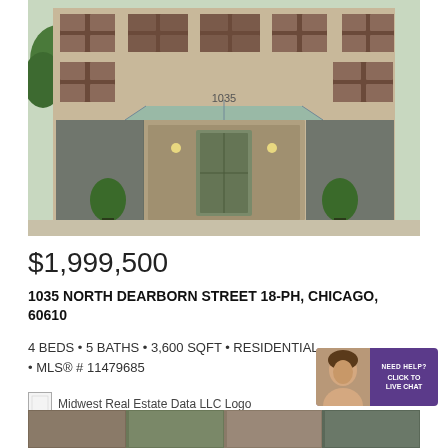[Figure (photo): Exterior photo of a modern high-rise condominium building at 1035 North Dearborn Street, Chicago. The building facade is beige/tan with large dark brown window frames. A glass canopy entrance with revolving door is visible, flanked by ornamental topiary plants. The number 1035 is visible above the entrance.]
$1,999,500
1035 NORTH DEARBORN STREET 18-PH, CHICAGO, 60610
4 BEDS • 5 BATHS • 3,600 SQFT • RESIDENTIAL • MLS® # 11479685
[Figure (logo): Midwest Real Estate Data LLC Logo — small square image placeholder with text label]
[Figure (photo): Bottom strip showing partial thumbnail of additional property photos]